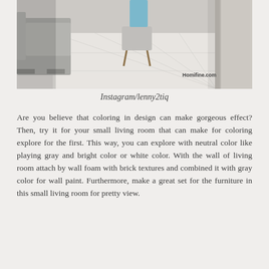[Figure (photo): Interior photo of a small living room with white floor tiles, a gray sofa on the left, a chair with wooden legs in the center, and a curtain on the right. Watermark text 'Homifine.com' visible.]
Instagram/lenny2tiq
Are you believe that coloring in design can make gorgeous effect? Then, try it for your small living room that can make for coloring explore for the first. This way, you can explore with neutral color like playing gray and bright color or white color. With the wall of living room attach by wall foam with brick textures and combined it with gray color for wall paint. Furthermore, make a great set for the furniture in this small living room for pretty view.